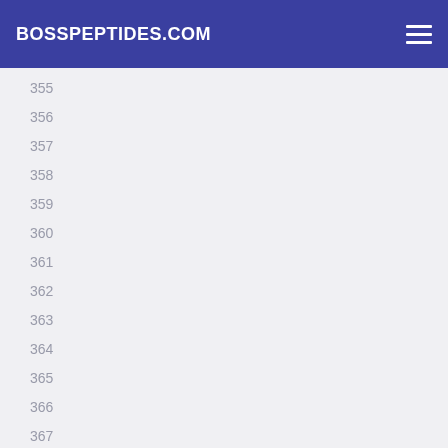BOSSPEPTIDES.COM
355
356
357
358
359
360
361
362
363
364
365
366
367
368